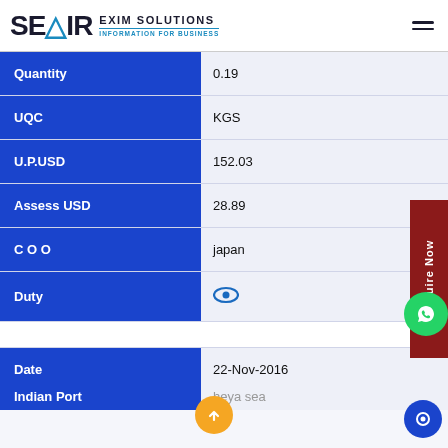SEAIR EXIM SOLUTIONS - INFORMATION FOR BUSINESS
| Field | Value |
| --- | --- |
| Quantity | 0.19 |
| UQC | KGS |
| U.P.USD | 152.03 |
| Assess USD | 28.89 |
| COO | japan |
| Duty | (eye icon) |
| Date | 22-Nov-2016 |
| Indian Port | ...heya sea |